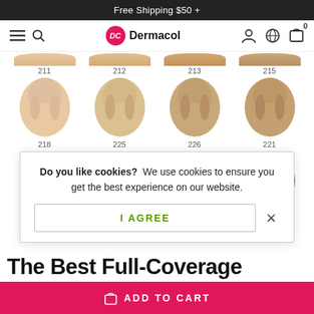Free Shipping $50 +
[Figure (screenshot): Dermacol website navigation bar with hamburger menu, search icon, Dermacol logo, user icon, globe icon, and cart icon with badge 0]
[Figure (photo): Grid of foundation shade swatches showing models wearing shades 211, 212, 213, 215 (top row) and 218, 225, 226, 221 (bottom row), partially visible]
Do you like cookies? We use cookies to ensure you get the best experience on our website.
I AGREE
The Best Full-Coverage
ADD TO CART